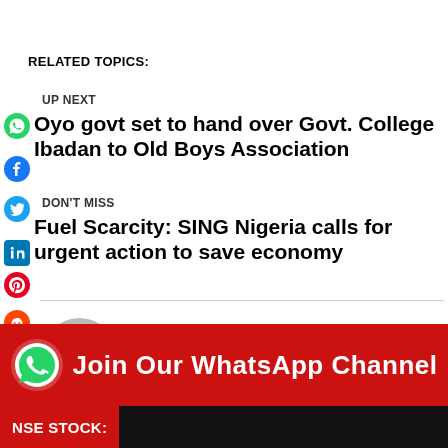RELATED TOPICS:
UP NEXT
Oyo govt set to hand over Govt. College Ibadan to Old Boys Association
DON'T MISS
Fuel Scarcity: SING Nigeria calls for urgent action to save economy
Florence Onuegbu
[Figure (infographic): WhatsApp Channel promotional banner with red background, WhatsApp icon, and text 'Join Our WhatsApp Channel']
NSE STOCK: